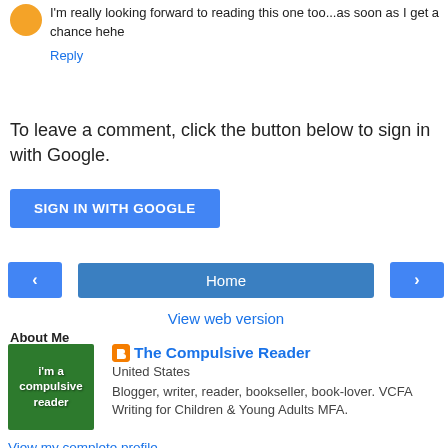I'm really looking forward to reading this one too...as soon as I get a chance hehe
Reply
To leave a comment, click the button below to sign in with Google.
SIGN IN WITH GOOGLE
Home
View web version
About Me
[Figure (illustration): Green square image with text 'i'm a compulsive reader']
The Compulsive Reader
United States
Blogger, writer, reader, bookseller, book-lover. VCFA Writing for Children & Young Adults MFA.
View my complete profile